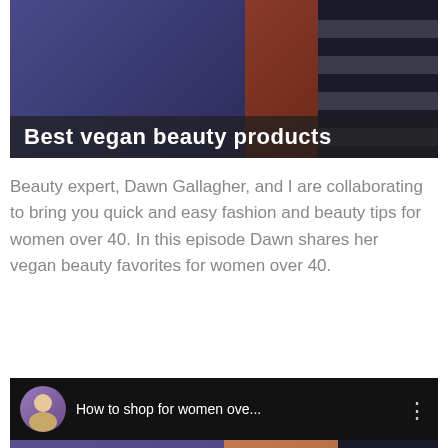[Figure (screenshot): Video thumbnail showing two women examining beauty products, with title overlay 'Best vegan beauty products']
Beauty expert, Dawn Gallagher, and I are collaborating to bring you quick and easy fashion and beauty tips for women over 40. In this episode Dawn shares her vegan beauty favorites for women over 40.
[Figure (screenshot): Embedded YouTube video player showing 'How to shop for women ove...' with two women and YouTube play button, bottom overlay reads 'Best vegan beauty products']